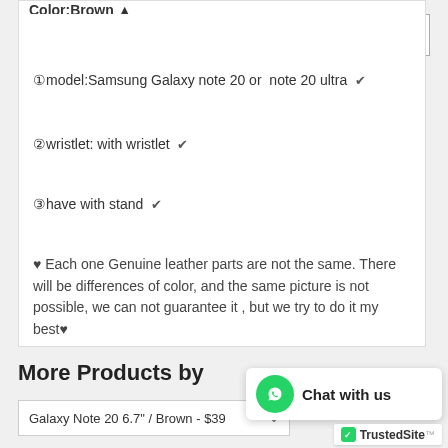Color:Brown ▲
USD ∨
①model:Samsung Galaxy note 20 or  note 20 ultra  ✔
②wristlet: with wristlet  ✔
③have with stand  ✔
♥ Each one Genuine leather parts are not the same. There will be differences of color, and the same picture is not possible, we can not guarantee it , but we try to do it my best♥
More Products by
Galaxy Note 20 6.7" / Brown - $39 ∨
Chat with us
TrustedSite